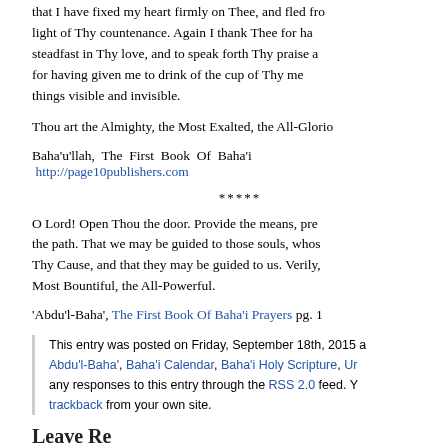that I have fixed my heart firmly on Thee, and fled fro... light of Thy countenance. Again I thank Thee for ha... steadfast in Thy love, and to speak forth Thy praise a... for having given me to drink of the cup of Thy me... things visible and invisible.
Thou art the Almighty, the Most Exalted, the All-Glorio...
Baha'u'llah, The First Book Of Baha'i ... http://page10publishers.com
*****
O Lord! Open Thou the door. Provide the means, pre... the path. That we may be guided to those souls, whos... Thy Cause, and that they may be guided to us. Verily,... Most Bountiful, the All-Powerful.
'Abdu'l-Baha', The First Book Of Baha'i Prayers pg. 1...
This entry was posted on Friday, September 18th, 2015 a... Abdu'l-Baha', Baha'i Calendar, Baha'i Holy Scripture, Ur... any responses to this entry through the RSS 2.0 feed. Y... trackback from your own site.
Leave a Reply